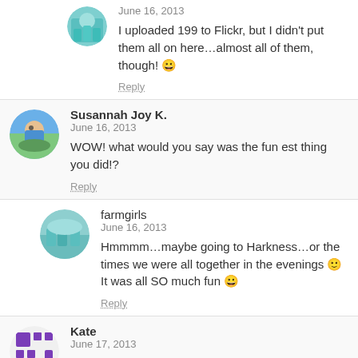June 16, 2013
I uploaded 199 to Flickr, but I didn't put them all on here…almost all of them, though! 😀
Reply
Susannah Joy K.
June 16, 2013
WOW! what would you say was the fun est thing you did!?
Reply
farmgirls
June 16, 2013
Hmmmm…maybe going to Harkness…or the times we were all together in the evenings 🙂 It was all SO much fun 😀
Reply
Kate
June 17, 2013